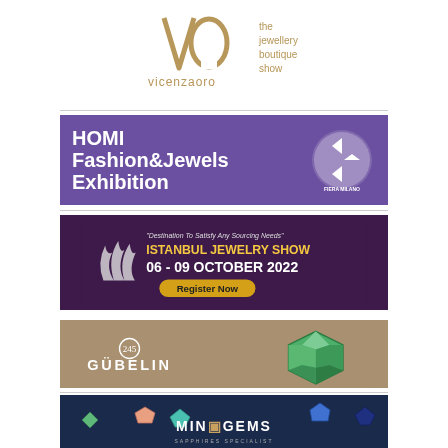[Figure (logo): VicenzaOro logo - VO symbol with text 'vicenzaoro' and tagline 'the jewellery boutique show']
[Figure (illustration): HOMI Fashion&Jewels Exhibition banner with purple background and Fiera Milano logo]
[Figure (illustration): Istanbul Jewelry Show banner 06-09 October 2022 with Register Now button on dark purple background]
[Figure (illustration): Gubelin logo banner on tan/gold background with green gemstone]
[Figure (illustration): MingGems Sapphires Specialist banner on dark navy background with colorful gemstones]